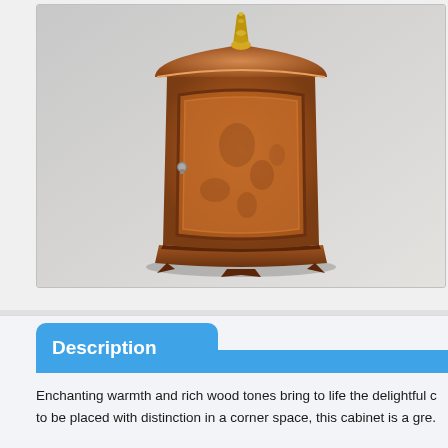[Figure (photo): A wooden corner cabinet with curved front door, brown walnut finish, decorative brass finial on top, small metal handle on door, standing on shaped base. Photographed against a light gray background.]
+ View Larger Image
Description
Enchanting warmth and rich wood tones bring to life the delightful c... to be placed with distinction in a corner space, this cabinet is a gre...